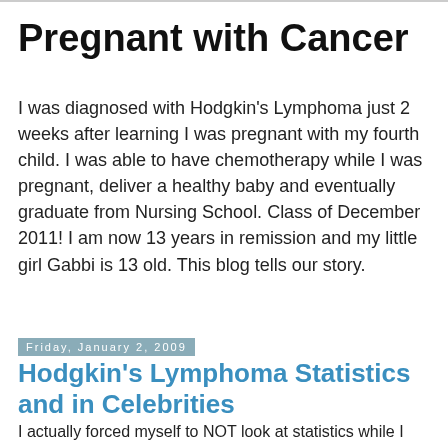Pregnant with Cancer
I was diagnosed with Hodgkin's Lymphoma just 2 weeks after learning I was pregnant with my fourth child. I was able to have chemotherapy while I was pregnant, deliver a healthy baby and eventually graduate from Nursing School. Class of December 2011! I am now 13 years in remission and my little girl Gabbi is 13 old. This blog tells our story.
Friday, January 2, 2009
Hodgkin's Lymphoma Statistics and in Celebrities
I actually forced myself to NOT look at statistics while I was sick. The statistics are not bad for Hodgkin's really but while looking for them you still find the bad ones. The worst case scenarios are out there. They are scary. I have seen many young women and men that died from Hodgkin's that kept